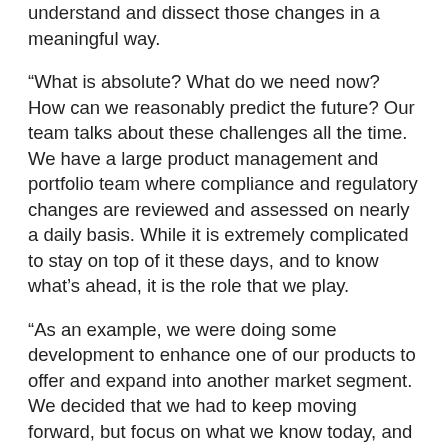understand and dissect those changes in a meaningful way.
“What is absolute? What do we need now? How can we reasonably predict the future? Our team talks about these challenges all the time. We have a large product management and portfolio team where compliance and regulatory changes are reviewed and assessed on nearly a daily basis. While it is extremely complicated to stay on top of it these days, and to know what’s ahead, it is the role that we play.
“As an example, we were doing some development to enhance one of our products to offer and expand into another market segment. We decided that we had to keep moving forward, but focus on what we know today, and be excellent at that, because it’s very uncertain what’s going to happen with health care legislation and the impact it will have on our customers. It could be a complete repeal and replace scenario or a few improvements to what we already have.